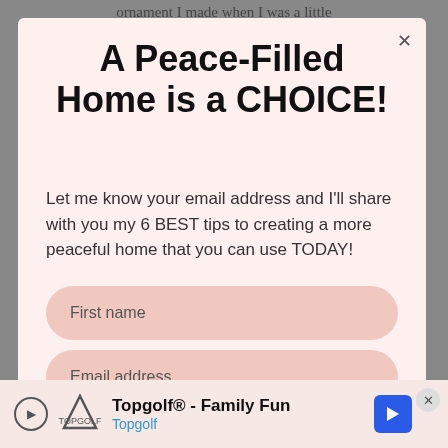ornament I made when I was a little
A Peace-Filled Home is a CHOICE!
Let me know your email address and I'll share with you my 6 BEST tips to creating a more peaceful home that you can use TODAY!
First name
Email address
Topgolf® - Family Fun Topgolf